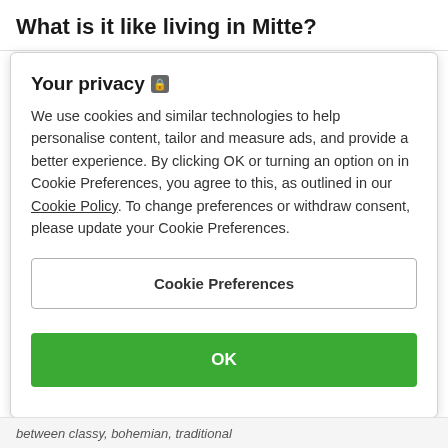What is it like living in Mitte?
Your privacy 🔒
We use cookies and similar technologies to help personalise content, tailor and measure ads, and provide a better experience. By clicking OK or turning an option on in Cookie Preferences, you agree to this, as outlined in our Cookie Policy. To change preferences or withdraw consent, please update your Cookie Preferences.
Cookie Preferences
OK
between classy, bohemian, traditional